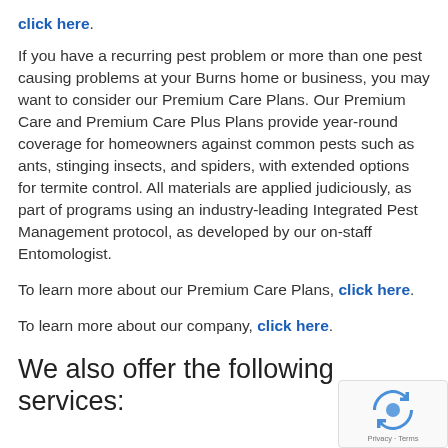click here.
If you have a recurring pest problem or more than one pest causing problems at your Burns home or business, you may want to consider our Premium Care Plans. Our Premium Care and Premium Care Plus Plans provide year-round coverage for homeowners against common pests such as ants, stinging insects, and spiders, with extended options for termite control. All materials are applied judiciously, as part of programs using an industry-leading Integrated Pest Management protocol, as developed by our on-staff Entomologist.
To learn more about our Premium Care Plans, click here.
To learn more about our company, click here.
We also offer the following services: